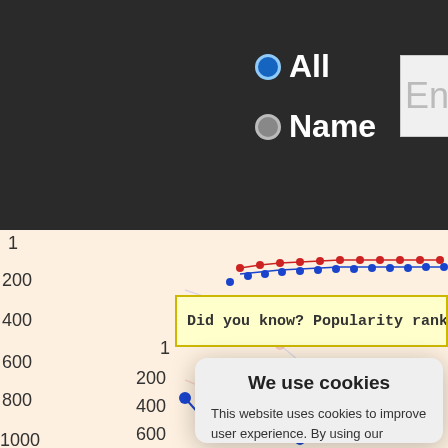[Figure (screenshot): Website UI screenshot showing radio buttons for 'All' and 'Name' filter options with a text entry box, partially visible chart with popularity rank data, a 'Did you know? Popularity rank as birth na...' yellow banner, and a cookie consent modal dialog with 'We use cookies' title, body text, 'Yes I agree', 'I disagree', and 'Read more' buttons, and 'Free cookie consent by cookie-script.com' footer.]